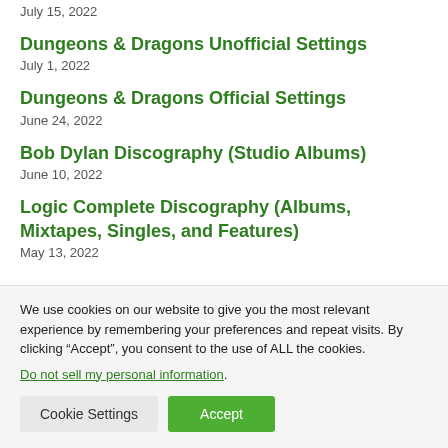July 15, 2022
Dungeons & Dragons Unofficial Settings
July 1, 2022
Dungeons & Dragons Official Settings
June 24, 2022
Bob Dylan Discography (Studio Albums)
June 10, 2022
Logic Complete Discography (Albums, Mixtapes, Singles, and Features)
May 13, 2022
We use cookies on our website to give you the most relevant experience by remembering your preferences and repeat visits. By clicking “Accept”, you consent to the use of ALL the cookies.
Do not sell my personal information.